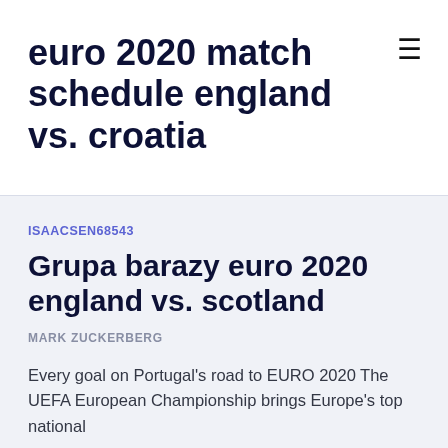euro 2020 match schedule england vs. croatia
ISAACSEN68543
Grupa barazy euro 2020 england vs. scotland
MARK ZUCKERBERG
Every goal on Portugal's road to EURO 2020 The UEFA European Championship brings Europe's top national